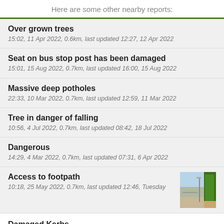Here are some other nearby reports:
Over grown trees
15:02, 11 Apr 2022, 0.6km, last updated 12:27, 12 Apr 2022
Seat on bus stop post has been damaged
15:01, 15 Aug 2022, 0.7km, last updated 16:00, 15 Aug 2022
Massive deep potholes
22:33, 10 Mar 2022, 0.7km, last updated 12:59, 11 Mar 2022
Tree in danger of falling
10:56, 4 Jul 2022, 0.7km, last updated 08:42, 18 Jul 2022
Dangerous
14:29, 4 Mar 2022, 0.7km, last updated 07:31, 6 Apr 2022
Access to footpath
10:18, 25 May 2022, 0.7km, last updated 12:46, Tuesday
Damaged Kerbs